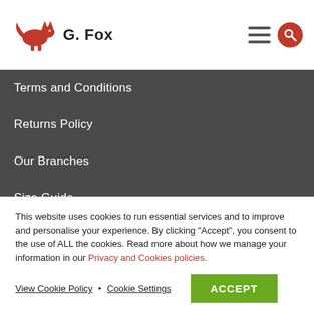G. Fox
Terms and Conditions
Returns Policy
Our Branches
Size Guide
Credit Applications
Certificates
Customer Login
This website uses cookies to run essential services and to improve and personalise your experience. By clicking "Accept", you consent to the use of ALL the cookies. Read more about how we manage your information in our Privacy and Cookies policies.
View Cookie Policy • Cookie Settings ACCEPT